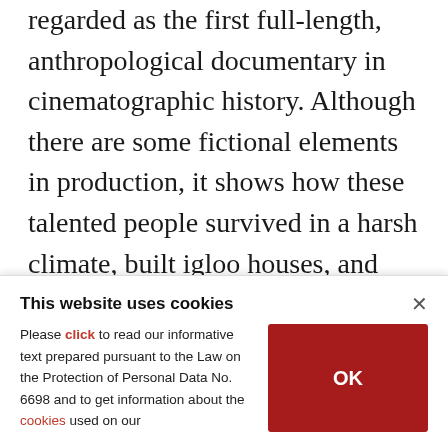regarded as the first full-length, anthropological documentary in cinematographic history. Although there are some fictional elements in production, it shows how these talented people survived in a harsh climate, built igloo houses, and found food by hunting and fishing. The film also brings the vast expanse of the North Pole, isolated from traditional civilization, and its imposing and impressive landscape to the screen. "Nanook of the North," which has been screened many times in various parts of the world has received numerous...
This website uses cookies
Please click to read our informative text prepared pursuant to the Law on the Protection of Personal Data No. 6698 and to get information about the cookies used on our